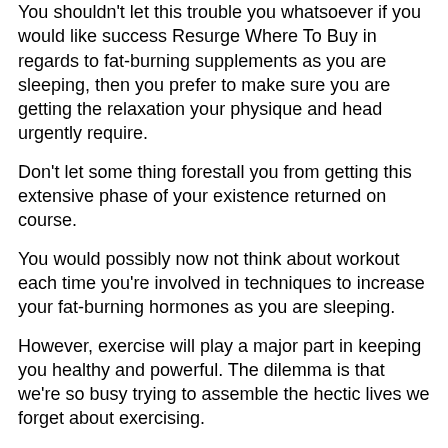You shouldn't let this trouble you whatsoever if you would like success Resurge Where To Buy in regards to fat-burning supplements as you are sleeping, then you prefer to make sure you are getting the relaxation your physique and head urgently require.
Don't let some thing forestall you from getting this extensive phase of your existence returned on course.
You would possibly now not think about workout each time you're involved in techniques to increase your fat-burning hormones as you are sleeping.
However, exercise will play a major part in keeping you healthy and powerful. The dilemma is that we're so busy trying to assemble the hectic lives we forget about exercising.
There are various plants and herbs Resurge Results which were used for centuries to take care of all kinds of ailments, such as sleep disorders.